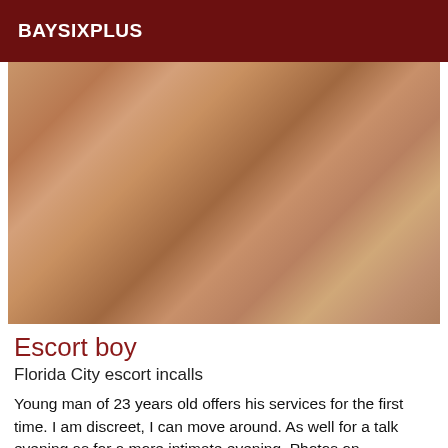BAYSIXPLUS
[Figure (photo): Close-up photo of a person's torso/chest area, skin tones in warm brown tones]
Escort boy
Florida City escort incalls
Young man of 23 years old offers his services for the first time. I am discreet, I can move around. As well for a talk evening as for a more intimate evening. Photos on request (incomplete sentence, cut off)